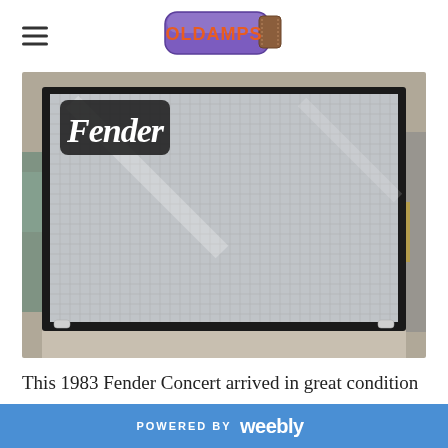OLDAMPS
[Figure (photo): Photograph of a 1983 Fender Concert guitar amplifier showing the silver grille cloth with the Fender script logo in the top-left corner. The amp has a black vinyl cabinet and chrome hardware. The photo was taken in what appears to be a workshop setting.]
This 1983 Fender Concert arrived in great condition having been with the same owner from new and
POWERED BY weebly